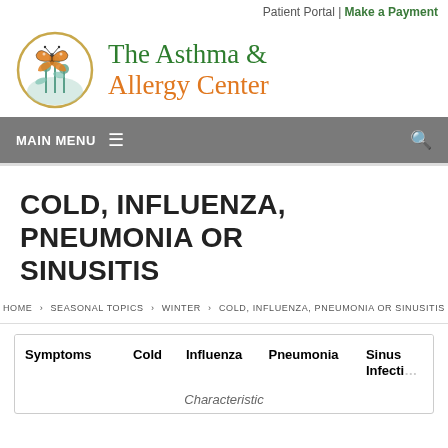Patient Portal | Make a Payment
[Figure (logo): The Asthma & Allergy Center logo with butterfly and flowers in a circle]
The Asthma & Allergy Center
MAIN MENU
COLD, INFLUENZA, PNEUMONIA OR SINUSITIS
HOME › SEASONAL TOPICS › WINTER › COLD, INFLUENZA, PNEUMONIA OR SINUSITIS
| Symptoms | Cold | Influenza | Pneumonia | Sinus Infection |
| --- | --- | --- | --- | --- |
| Characteristic |  |  |  |  |